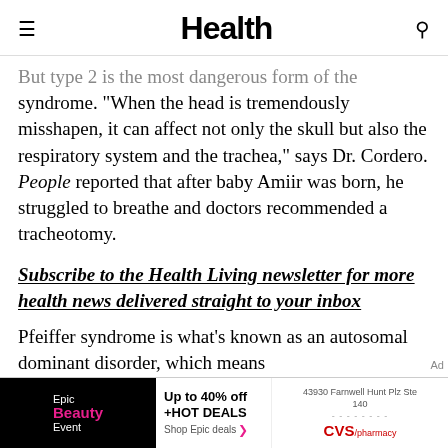Health
But type 2 is the most dangerous form of the syndrome. "When the head is tremendously misshapen, it can affect not only the skull but also the respiratory system and the trachea," says Dr. Cordero. People reported that after baby Amiir was born, he struggled to breathe and doctors recommended a tracheotomy.
Subscribe to the Health Living newsletter for more health news delivered straight to your inbox
Pfeiffer syndrome is what's known as an autosomal dominant disorder, which means